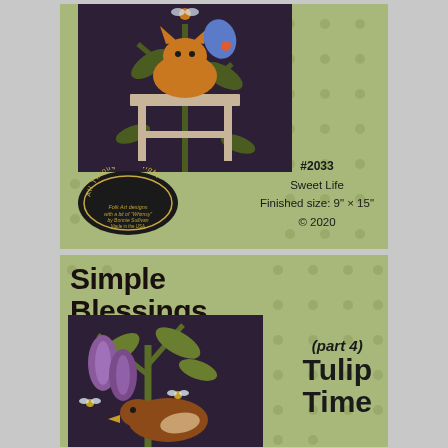[Figure (illustration): Top product card with sage green background with polka dots. Shows a folk art quilt block on dark background featuring an orange cat sitting on a stool with a blue flower. Includes 'All Through the Night' logo badge and product info: #2033, Sweet Life, Finished size: 9" x 15", © 2020.]
[Figure (illustration): Bottom product card with sage green background with polka dots. Shows 'Simple Blessings (part 4) Tulip Time' title text. Quilt block on dark background features a brown bird/duck with purple tulips and small bees.]